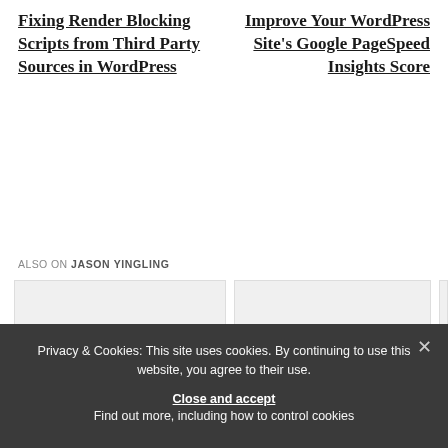Fixing Render Blocking Scripts from Third Party Sources in WordPress
Improve Your WordPress Site's Google PageSpeed Insights Score
ALSO ON JASON YINGLING
[Figure (screenshot): Two card thumbnails with left and right navigation arrows, gray gradient backgrounds]
Privacy & Cookies: This site uses cookies. By continuing to use this website, you agree to their use.
Close and accept